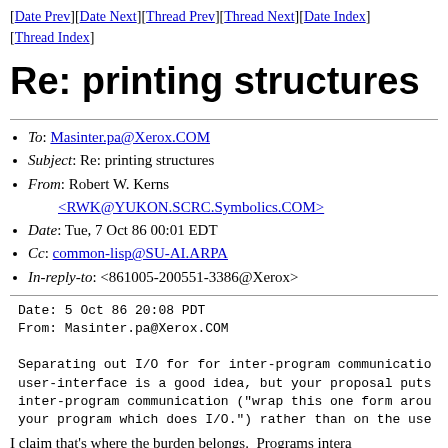[Date Prev][Date Next][Thread Prev][Thread Next][Date Index][Thread Index]
Re: printing structures
To: Masinter.pa@Xerox.COM
Subject: Re: printing structures
From: Robert W. Kerns <RWK@YUKON.SCRC.Symbolics.COM>
Date: Tue, 7 Oct 86 00:01 EDT
Cc: common-lisp@SU-AI.ARPA
In-reply-to: <861005-200551-3386@Xerox>
Date: 5 Oct 86 20:08 PDT
From: Masinter.pa@Xerox.COM

Separating out I/O for for inter-program communicatio
user-interface is a good idea, but your proposal puts
inter-program communication ("wrap this one form arou
your program which does I/O.") rather than on the use
I claim that's where the burden belongs.  Programs intera
with the proposal have rather than interact with th